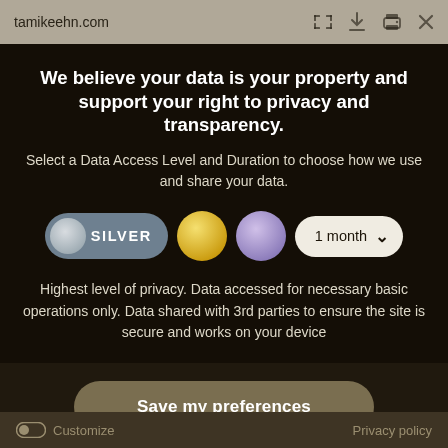tamikeehn.com
We believe your data is your property and support your right to privacy and transparency.
Select a Data Access Level and Duration to choose how we use and share your data.
[Figure (infographic): Privacy level selector showing SILVER pill button selected, gold circle button, purple circle button, and a '1 month' dropdown selector]
Highest level of privacy. Data accessed for necessary basic operations only. Data shared with 3rd parties to ensure the site is secure and works on your device
Save my preferences
Customize   Privacy policy